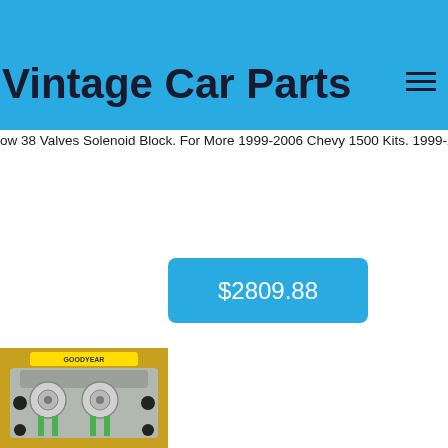Vintage Car Parts
ow 38 Valves Solenoid Block. For More 1999-2006 Chevy 1500 Kits. 1999-2006 Chevrolet Silverado 1500 Gmc Sierra 1500. Fits 12 Ton 6 Lug Truck
$2809.88
[Figure (photo): Car part component - brake or suspension assembly on yellow surface]